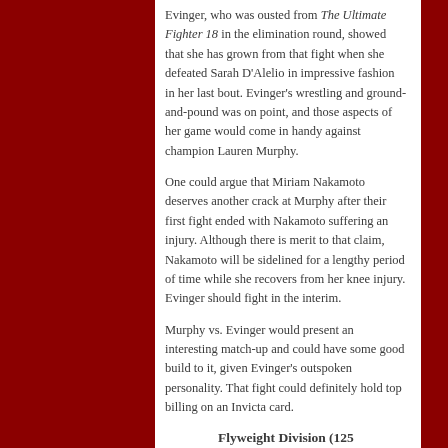Evinger, who was ousted from The Ultimate Fighter 18 in the elimination round, showed that she has grown from that fight when she defeated Sarah D'Alelio in impressive fashion in her last bout. Evinger's wrestling and ground-and-pound was on point, and those aspects of her game would come in handy against champion Lauren Murphy.
One could argue that Miriam Nakamoto deserves another crack at Murphy after their first fight ended with Nakamoto suffering an injury. Although there is merit to that claim, Nakamoto will be sidelined for a lengthy period of time while she recovers from her knee injury. Evinger should fight in the interim.
Murphy vs. Evinger would present an interesting match-up and could have some good build to it, given Evinger's outspoken personality. That fight could definitely hold top billing on an Invicta card.
Flyweight Division (125